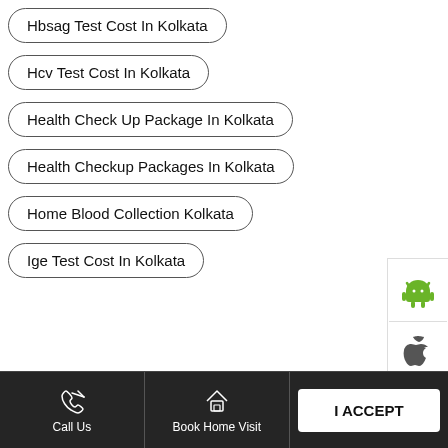Hbsag Test Cost In Kolkata
Hcv Test Cost In Kolkata
Health Check Up Package In Kolkata
Health Checkup Packages In Kolkata
Home Blood Collection Kolkata
Ige Test Cost In Kolkata
Lft Test Cost In Kolkata
Lft Test Price In Kolkata
Lipid Profile Test Cost In Kolkata
Lipid Profile Test Price In Kolkata
Lipid Profile Test Price In Kolkata
Cookie Information
On our website, we use services (including from third-party providers) that help us to improve our online presence (optimization of website) and to display content that is geared to their interests. We need your consent before being able to use these services.
I ACCEPT
Call Us
Book Home Visit
Directions